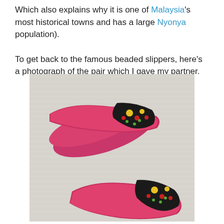Which also explains why it is one of Malaysia's most historical towns and has a large Nyonya population).

To get back to the famous beaded slippers, here's a photograph of the pair which I gave my partner.
[Figure (photo): A pair of pink/magenta beaded Nyonya slippers with black floral embroidered straps featuring yellow and red flowers, photographed on a light textured background.]